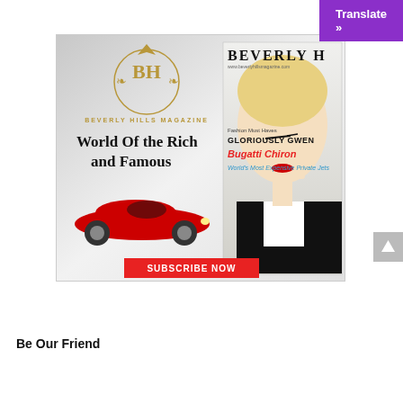[Figure (illustration): Purple 'Translate »' button in top-right corner]
[Figure (illustration): Beverly Hills Magazine advertisement showing BH logo, 'World Of the Rich and Famous' tagline, a red Ferrari sports car, a magazine cover featuring Gwen Stefani with text 'BEVERLY H...', 'GLORIOUSLY GWEN', 'Bugatti Chiron', 'World's Most Expensive Private Jets', and a red 'SUBSCRIBE NOW' button]
[Figure (illustration): Gray scroll-to-top button with upward arrow on right side]
Be Our Friend